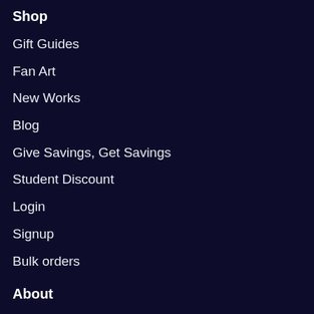Shop
Gift Guides
Fan Art
New Works
Blog
Give Savings, Get Savings
Student Discount
Login
Signup
Bulk orders
About
About Us
Social Responsibility